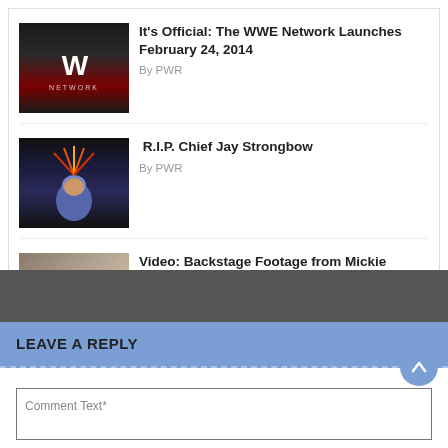[Figure (photo): WWE Network logo on dark background with red accents]
It's Official: The WWE Network Launches February 24, 2014
By PWR
[Figure (photo): Chief Jay Strongbow wearing Native American headdress]
R.I.P. Chief Jay Strongbow
By PWR
[Figure (photo): Backstage footage thumbnail showing people in a backstage area]
Video: Backstage Footage from Mickie James' Return at the Royal Rumble
By Paul Hellering
LEAVE A REPLY
Comment Text*